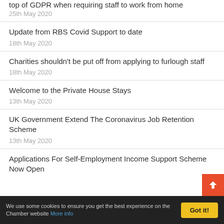top of GDPR when requiring staff to work from home
25th May 2020
Update from RBS Covid Support to date
18th May 2020
Charities shouldn't be put off from applying to furlough staff
18th May 2020
Welcome to the Private House Stays
13th May 2020
UK Government Extend The Coronavirus Job Retention Scheme
13th May 2020
Applications For Self-Employment Income Support Scheme Now Open
We use some cookies to ensure you get the best experience on the Chamber website More info  Got it!